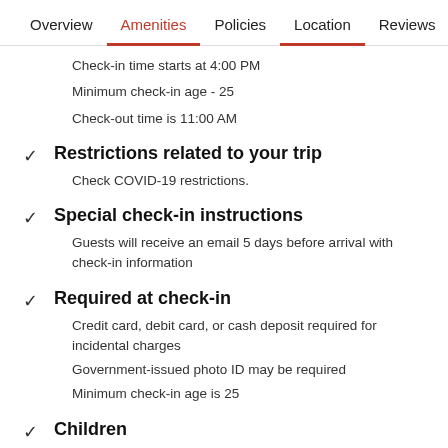Overview  Amenities  Policies  Location  Reviews
Check-in time starts at 4:00 PM
Minimum check-in age - 25
Check-out time is 11:00 AM
Restrictions related to your trip
Check COVID-19 restrictions.
Special check-in instructions
Guests will receive an email 5 days before arrival with check-in information
Required at check-in
Credit card, debit card, or cash deposit required for incidental charges
Government-issued photo ID may be required
Minimum check-in age is 25
Children